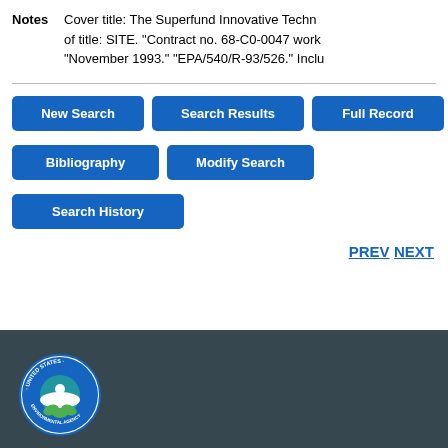Notes  Cover title: The Superfund Innovative Techn... of title: SITE. "Contract no. 68-C0-0047 work... "November 1993." "EPA/540/R-93/526." Inclu...
New Search
Search Results
Full Record
Bibliography
Modify Search
Search History
PREV  NEXT
[Figure (logo): EPA United States Environmental Protection Agency circular seal/logo in blue and green]